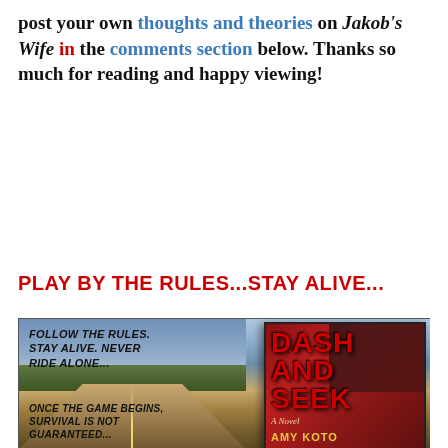post your own thoughts and theories on Jakob's Wife in the comments section below. Thanks so much for reading and happy viewing!
PLAY BY THE RULES...STAY ALIVE...
[Figure (illustration): Book promotional image for 'Dash and Seek' by Amy Koto. Left side shows a road stretching into the distance with text 'FOLLOW THE RULES. STAY ALIVE. NEVER RIDE ALONE...' at top and 'ONCE THE GAME BEGINS, SURVIVAL IS NOT GUARANTEED...' at bottom. Right side shows the book cover with red background, title 'DASH AND SEEK', subtitle 'A Novel', and author name 'AMY KOTO'.]